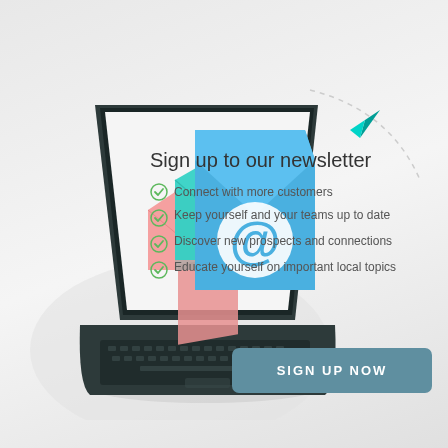[Figure (illustration): Isometric illustration of a laptop with email envelopes (pink, teal, blue with @ symbol) emerging from the screen, a paper airplane icon top right, and decorative circles in background]
Sign up to our newsletter
Connect with more customers
Keep yourself and your teams up to date
Discover new prospects and connections
Educate yourself on important local topics
SIGN UP NOW